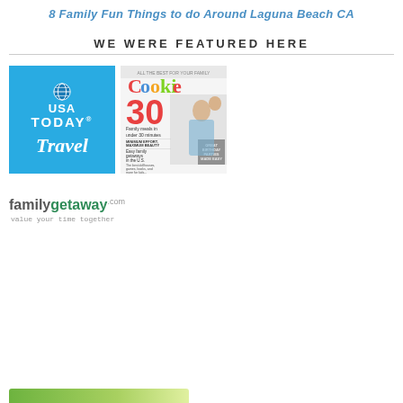8 Family Fun Things to do Around Laguna Beach CA
WE WERE FEATURED HERE
[Figure (logo): USA TODAY Travel logo – blue background with globe icon, USA TODAY text in white, and 'Travel' in italic white below]
[Figure (photo): Cookie magazine cover showing '30 Family meals in under 30 minutes', 'Easy family getaways in the U.S.' with mother and child photo]
[Figure (logo): familygetaway.com logo with tagline 'value your time together']
[Figure (illustration): Partial green bar/banner at the bottom of the page]